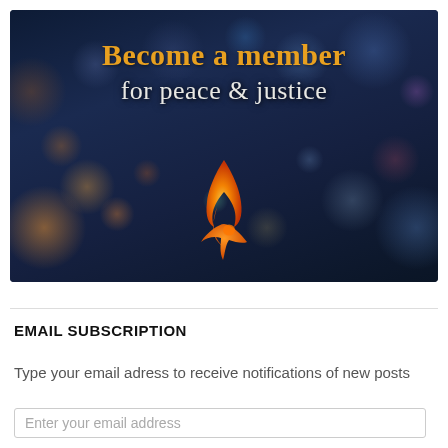[Figure (illustration): Banner image with bokeh city lights background (dark blue/navy tones with orange and colorful bokeh circles). Text overlay reads 'Become a member' in bold orange serif font and 'for peace & justice' in white serif font. A flame/fire emoji icon (orange gradient fire with dove shape at base) is centered in the lower portion of the banner.]
EMAIL SUBSCRIPTION
Type your email adress to receive notifications of new posts
Enter your email address